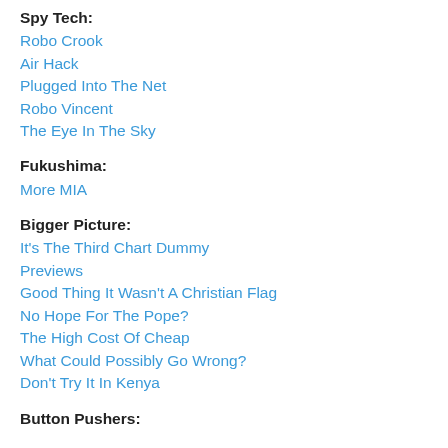Spy Tech:
Robo Crook
Air Hack
Plugged Into The Net
Robo Vincent
The Eye In The Sky
Fukushima:
More MIA
Bigger Picture:
It's The Third Chart Dummy
Previews
Good Thing It Wasn't A Christian Flag
No Hope For The Pope?
The High Cost Of Cheap
What Could Possibly Go Wrong?
Don't Try It In Kenya
Button Pushers: